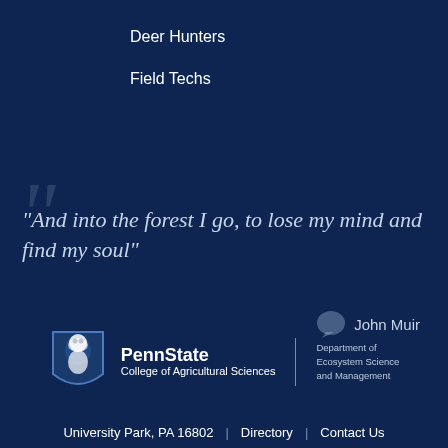Deer Hunters
Field Techs
“And into the forest I go, to lose my mind and find my soul”
John Muir
[Figure (logo): Penn State College of Agricultural Sciences shield logo with lion, PennState wordmark, and Department of Ecosystem Science and Management text]
University Park, PA 16802 | Directory | Contact Us